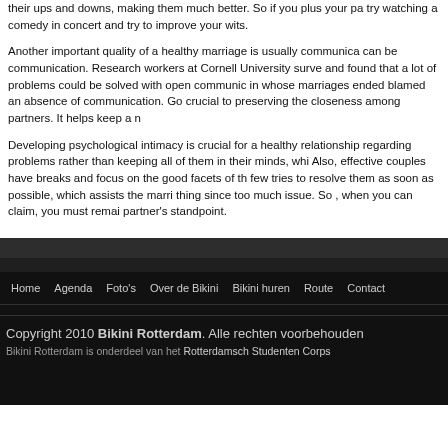their ups and downs, making them much better. So if you plus your pa try watching a comedy in concert and try to improve your wits.
Another important quality of a healthy marriage is usually communica can be communication. Research workers at Cornell University surve and found that a lot of problems could be solved with open communic in whose marriages ended blamed an absence of communication. Go crucial to preserving the closeness among partners. It helps keep a n
Developing psychological intimacy is crucial for a healthy relationship regarding problems rather than keeping all of them in their minds, whi Also, effective couples have breaks and focus on the good facets of th few tries to resolve them as soon as possible, which assists the marri thing since too much issue. So , when you can claim, you must remai partner's standpoint.
Home  Agenda  Foto's  Over de Bikini  Bikini huren  Route  Contact
Copyright 2010 Bikini Rotterdam. Alle rechten voorbehouden
Bikini Rotterdam is onderdeel van het Rotterdamsch Studenten Corps